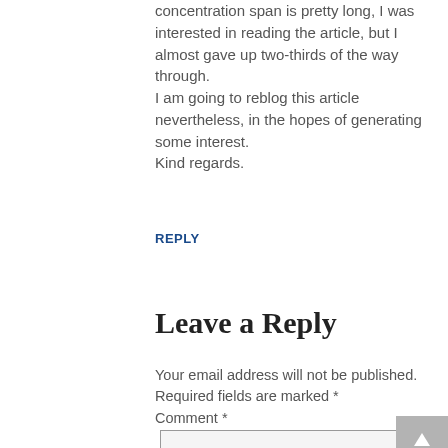concentration span is pretty long, I was interested in reading the article, but I almost gave up two-thirds of the way through.
I am going to reblog this article nevertheless, in the hopes of generating some interest.
Kind regards.
REPLY
Leave a Reply
Your email address will not be published. Required fields are marked *
Comment *